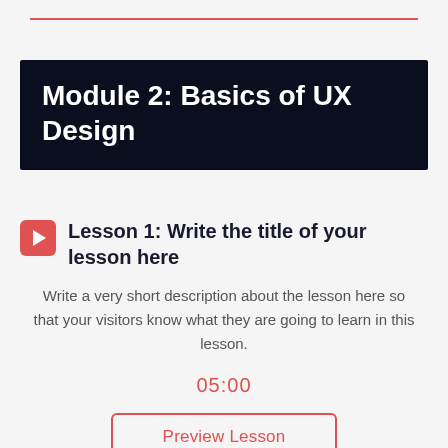Module 2: Basics of UX Design
Lesson 1: Write the title of your lesson here
Write a very short description about the lesson here so that your visitors know what they are going to learn in this lesson.
05:00
Preview Lesson